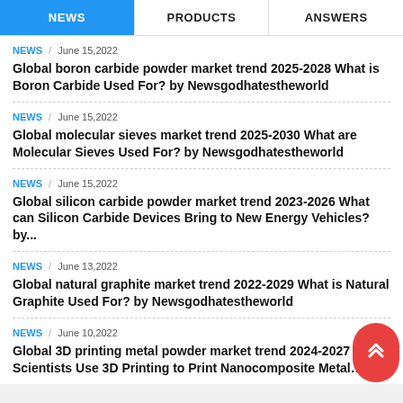NEWS | PRODUCTS | ANSWERS
NEWS / June 15,2022 — Global boron carbide powder market trend 2025-2028 What is Boron Carbide Used For? by Newsgodhatestheworld
NEWS / June 15,2022 — Global molecular sieves market trend 2025-2030 What are Molecular Sieves Used For? by Newsgodhatestheworld
NEWS / June 15,2022 — Global silicon carbide powder market trend 2023-2026 What can Silicon Carbide Devices Bring to New Energy Vehicles? by...
NEWS / June 13,2022 — Global natural graphite market trend 2022-2029 What is Natural Graphite Used For? by Newsgodhatestheworld
NEWS / June 10,2022 — Global 3D printing metal powder market trend 2024-2027 Scientists Use 3D Printing to Print Nanocomposite Metal Powders into Magnetic...